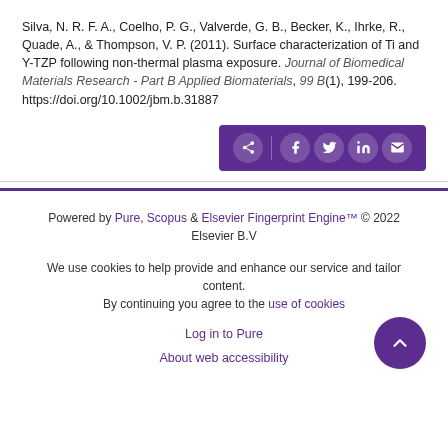Silva, N. R. F. A., Coelho, P. G., Valverde, G. B., Becker, K., Ihrke, R., Quade, A., & Thompson, V. P. (2011). Surface characterization of Ti and Y-TZP following non-thermal plasma exposure. Journal of Biomedical Materials Research - Part B Applied Biomaterials, 99 B(1), 199-206. https://doi.org/10.1002/jbm.b.31887
[Figure (other): Social share bar with icons for share, Facebook, Twitter, LinkedIn, and email on a purple background]
Powered by Pure, Scopus & Elsevier Fingerprint Engine™ © 2022 Elsevier B.V
We use cookies to help provide and enhance our service and tailor content. By continuing you agree to the use of cookies
Log in to Pure
About web accessibility